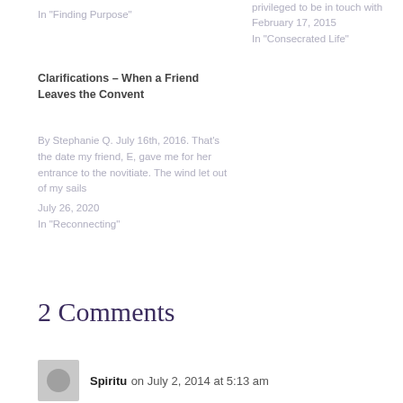In "Finding Purpose"
privileged to be in touch with
February 17, 2015
In "Consecrated Life"
Clarifications – When a Friend Leaves the Convent
By Stephanie Q. July 16th, 2016. That's the date my friend, E, gave me for her entrance to the novitiate. The wind let out of my sails
July 26, 2020
In "Reconnecting"
2 Comments
Spiritu on July 2, 2014 at 5:13 am